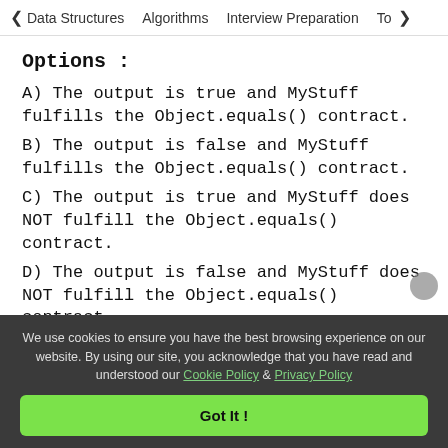< Data Structures   Algorithms   Interview Preparation   To>
Options :
A) The output is true and MyStuff fulfills the Object.equals() contract.
B) The output is false and MyStuff fulfills the Object.equals() contract.
C) The output is true and MyStuff does NOT fulfill the Object.equals() contract.
D) The output is false and MyStuff does NOT fulfill the Object.equals() contract.
We use cookies to ensure you have the best browsing experience on our website. By using our site, you acknowledge that you have read and understood our Cookie Policy & Privacy Policy
Got It !